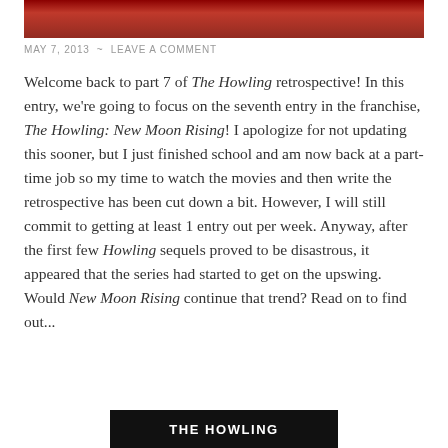[Figure (photo): Red/dark red banner image at top of blog post]
MAY 7, 2013  ~  LEAVE A COMMENT
Welcome back to part 7 of The Howling retrospective! In this entry, we're going to focus on the seventh entry in the franchise, The Howling: New Moon Rising! I apologize for not updating this sooner, but I just finished school and am now back at a part-time job so my time to watch the movies and then write the retrospective has been cut down a bit. However, I will still commit to getting at least 1 entry out per week. Anyway, after the first few Howling sequels proved to be disastrous, it appeared that the series had started to get on the upswing. Would New Moon Rising continue that trend? Read on to find out...
[Figure (photo): Black banner with white text reading THE HOWLING at bottom of page]